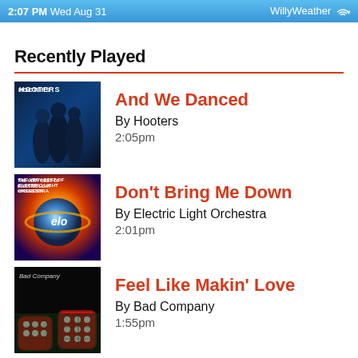2:07 PM Wed Aug 31 — WillyWeather
Recently Played
And We Danced — By Hooters — 2:05pm
Don't Bring Me Down — By Electric Light Orchestra — 2:01pm
Feel Like Makin' Love — By Bad Company — 1:55pm
Heart And Soul — By Huey Lewis and The News